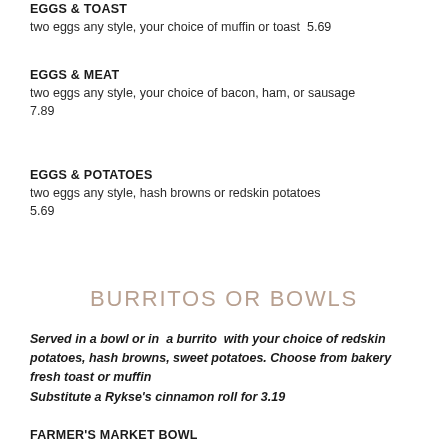EGGS & TOAST
two eggs any style, your choice of muffin or toast  5.69
EGGS & MEAT
two eggs any style, your choice of bacon, ham, or sausage 7.89
EGGS & POTATOES
two eggs any style, hash browns or redskin potatoes 5.69
BURRITOS OR BOWLS
Served in a bowl or in  a burrito  with your choice of redskin potatoes, hash browns, sweet potatoes. Choose from bakery fresh toast or muffin
Substitute a Rykse's cinnamon roll for 3.19
FARMER'S MARKET BOWL